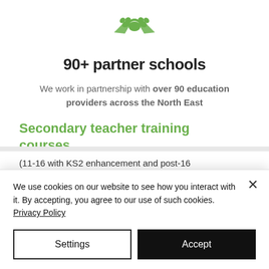[Figure (illustration): Green handshake icon]
90+ partner schools
We work in partnership with over 90 education providers across the North East
Secondary teacher training courses
(11-16 with KS2 enhancement and post-16 enhancement):
We use cookies on our website to see how you interact with it. By accepting, you agree to our use of such cookies. Privacy Policy
Settings
Accept